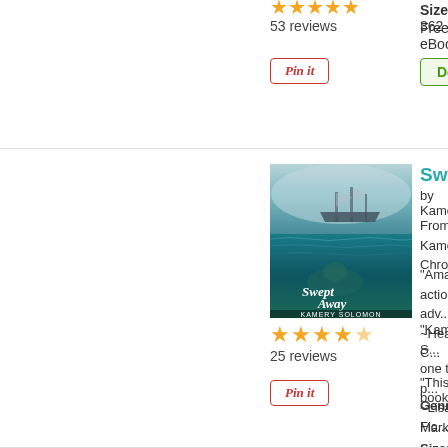53 reviews
[Figure (other): Pin it button - top listing]
Size: 362
Free eBoo...
[Figure (other): Download button - top listing]
[Figure (illustration): Book cover for Swept Away by Kamery Solomon - shows a ship in fog above water with a person floating underwater, teal/dark blue tones, title in script font]
Swept A...
by Kamery...
From Kame...
Chronicles...
“Amazing!...
action, adv...
~Heather C...
“Kamery S...
one trick p...
~Lisa Mark...
“This book...
25 reviews
[Figure (other): Pin it button - Swept Away listing]
Genre: Fic...
Size: 365 p...
Free eBoo...
[Figure (other): Download button - Swept Away listing]